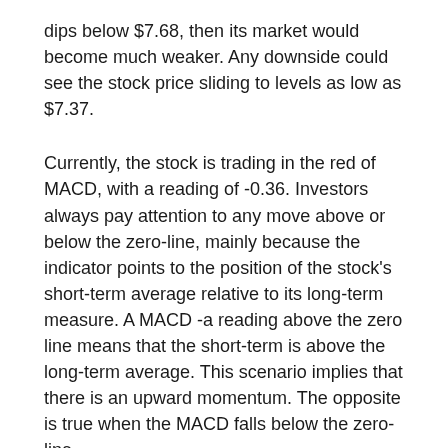dips below $7.68, then its market would become much weaker. Any downside could see the stock price sliding to levels as low as $7.37.
Currently, the stock is trading in the red of MACD, with a reading of -0.36. Investors always pay attention to any move above or below the zero-line, mainly because the indicator points to the position of the stock's short-term average relative to its long-term measure. A MACD -a reading above the zero line means that the short-term is above the long-term average. This scenario implies that there is an upward momentum. The opposite is true when the MACD falls below the zero-line.
Analysts at Craig Hallum cut their recommendation for LE from Buy to Hold in March 16 review while maintaing their target price of $7. CL King analysts downgraded their